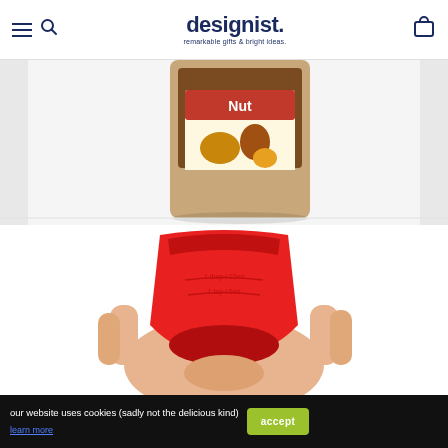designist. remarkable gifts & bright ideas.
[Figure (photo): Photo of a Nutella jar on white background, partially cropped]
[Figure (photo): Hand holding a red silicone jar scraper/measuring cup product on white background]
our website uses cookies (sadly not the delicious kind)
learn more